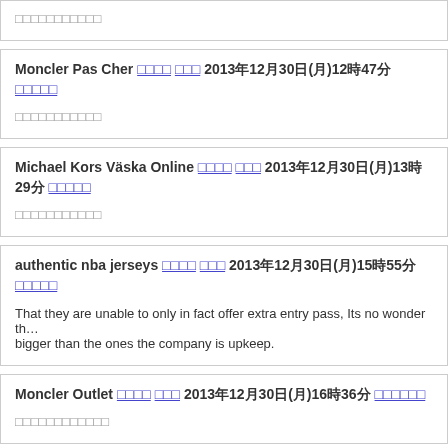□□□□□□□□□□□
Moncler Pas Cher □□□□ □□□ 2013年12月30日(月)12時47分 □□□□□
□□□□□□□□□□□
Michael Kors Väska Online □□□□ □□□ 2013年12月30日(月)13時29分 □□□□□
□□□□□□□□□□□
authentic nba jerseys □□□□ □□□ 2013年12月30日(月)15時55分 □□□□□
That they are unable to only in fact offer extra entry pass, Its no wonder that bigger than the ones the company is upkeep.
Moncler Outlet □□□□ □□□ 2013年12月30日(月)16時36分 □□□□□□
□□□□□□□□□□□□